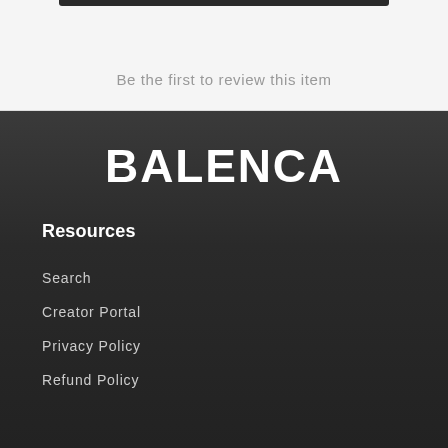Be the first to review this item
BALENCA
Resources
Search
Creator Portal
Privacy Policy
Refund Policy